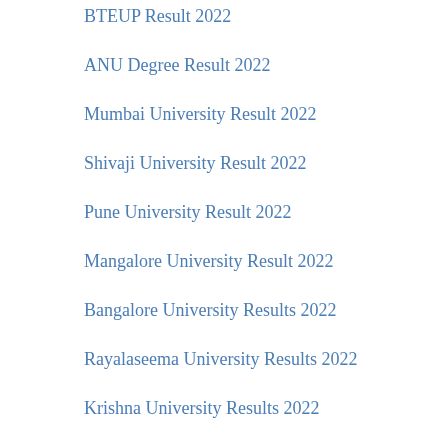BTEUP Result 2022
ANU Degree Result 2022
Mumbai University Result 2022
Shivaji University Result 2022
Pune University Result 2022
Mangalore University Result 2022
Bangalore University Results 2022
Rayalaseema University Results 2022
Krishna University Results 2022